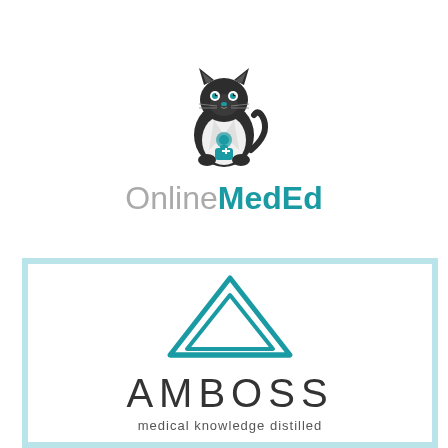[Figure (logo): OnlineMedEd logo: cartoon black cat mascot wearing a white doctor coat with teal stethoscope and medical bag, above text 'OnlineMedEd' where 'Online' is light grey and 'MedEd' is teal/bold]
[Figure (logo): AMBOSS logo: two concentric teal triangles forming a mountain/delta shape above the word 'AMBOSS' in large spaced dark letters and subtitle 'medical knowledge distilled' in smaller text, enclosed in a light blue border box]